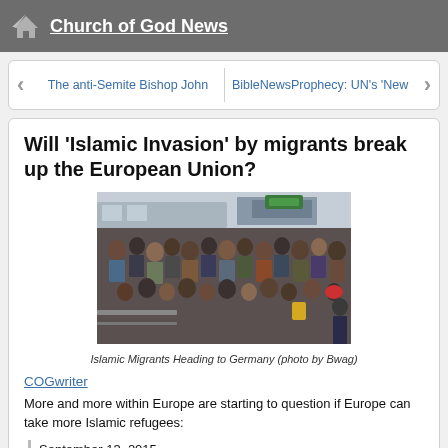Church of God News
The anti-Semite Bishop John    BibleNewsProphecy: UN's 'New
Will 'Islamic Invasion' by migrants break up the European Union?
[Figure (photo): A large crowd of Islamic migrants heading to Germany, gathered at what appears to be a transit station with buses and overhead signs visible.]
Islamic Migrants Heading to Germany (photo by Bwag)
COGwriter
More and more within Europe are starting to question if Europe can take more Islamic refugees:
September 13, 2015